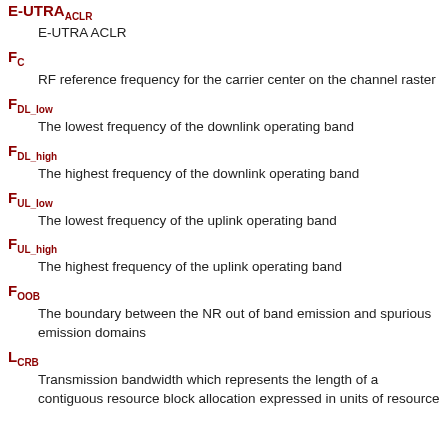E-UTRA ACLR (E-UTRA subscript)
E-UTRA ACLR
F_C
RF reference frequency for the carrier center on the channel raster
F_DL_low
The lowest frequency of the downlink operating band
F_DL_high
The highest frequency of the downlink operating band
F_UL_low
The lowest frequency of the uplink operating band
F_UL_high
The highest frequency of the uplink operating band
F_OOB
The boundary between the NR out of band emission and spurious emission domains
L_CRB
Transmission bandwidth which represents the length of a contiguous resource block allocation expressed in units of resource